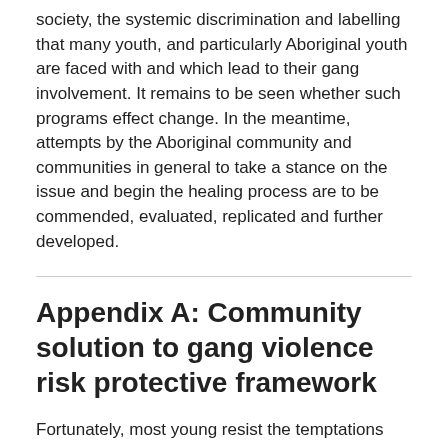society, the systemic discrimination and labelling that many youth, and particularly Aboriginal youth are faced with and which lead to their gang involvement. It remains to be seen whether such programs effect change. In the meantime, attempts by the Aboriginal community and communities in general to take a stance on the issue and begin the healing process are to be commended, evaluated, replicated and further developed.
Appendix A: Community solution to gang violence risk protective framework
Fortunately, most young resist the temptations and forces that make gang life appear attractive. Researchers agree that these young people have protective factors in their lives. The most recent research in juvenile crime prevention is guided by a variation of the risk protective